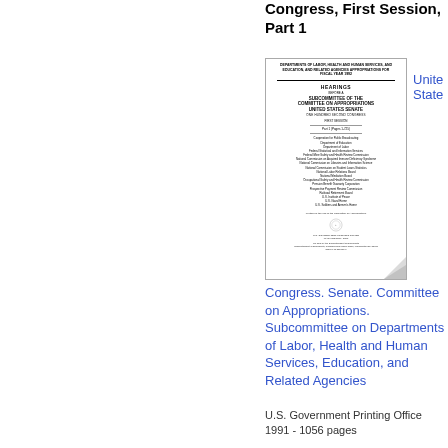Congress, First Session, Part 1
[Figure (illustration): Scanned cover of a U.S. Senate hearing document: Departments of Labor, Health and Human Services, and Education, and Related Agencies Appropriations for Fiscal Year 1992. Hearings before a Subcommittee of the Committee on Appropriations, United States Senate, One Hundred Second Congress, First Session. Part 1 (Pages 1-725). U.S. Government Printing Office, 1991.]
United States
Congress. Senate. Committee on Appropriations. Subcommittee on Departments of Labor, Health and Human Services, Education, and Related Agencies
U.S. Government Printing Office
1991 - 1056 pages